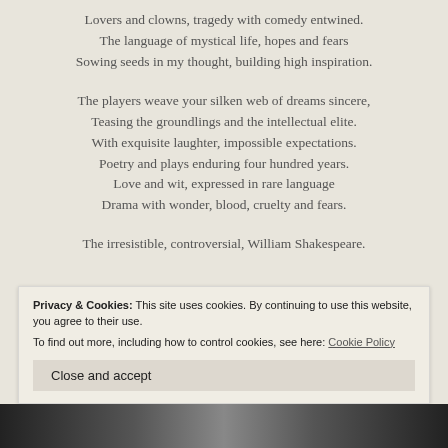Lovers and clowns, tragedy with comedy entwined.
The language of mystical life, hopes and fears
Sowing seeds in my thought, building high inspiration.
The players weave your silken web of dreams sincere,
Teasing the groundlings and the intellectual elite.
With exquisite laughter, impossible expectations.
Poetry and plays enduring four hundred years.
Love and wit, expressed in rare language
Drama with wonder, blood, cruelty and fears.
The irresistible, controversial, William Shakespeare.
Privacy & Cookies: This site uses cookies. By continuing to use this website, you agree to their use.
To find out more, including how to control cookies, see here: Cookie Policy
Close and accept
[Figure (photo): Black and white image visible at bottom of page, partially cut off]